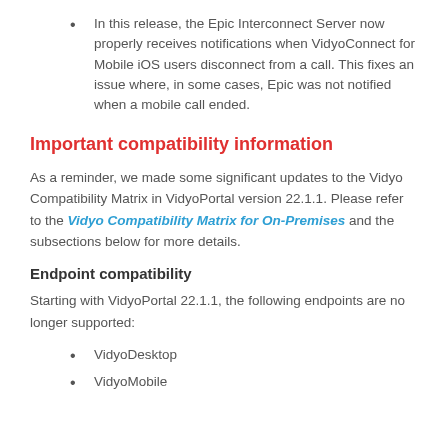In this release, the Epic Interconnect Server now properly receives notifications when VidyoConnect for Mobile iOS users disconnect from a call. This fixes an issue where, in some cases, Epic was not notified when a mobile call ended.
Important compatibility information
As a reminder, we made some significant updates to the Vidyo Compatibility Matrix in VidyoPortal version 22.1.1. Please refer to the Vidyo Compatibility Matrix for On-Premises and the subsections below for more details.
Endpoint compatibility
Starting with VidyoPortal 22.1.1, the following endpoints are no longer supported:
VidyoDesktop
VidyoMobile